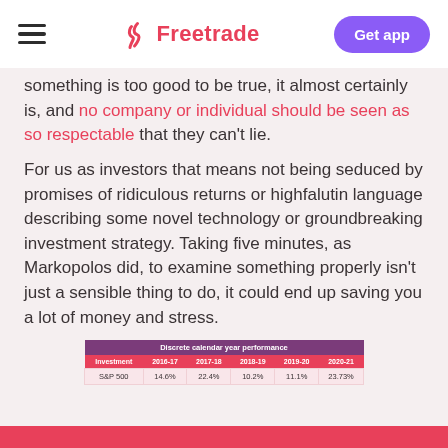Freetrade — Get app
something is too good to be true, it almost certainly is, and no company or individual should be seen as so respectable that they can't lie.
For us as investors that means not being seduced by promises of ridiculous returns or highfalutin language describing some novel technology or groundbreaking investment strategy. Taking five minutes, as Markopolos did, to examine something properly isn't just a sensible thing to do, it could end up saving you a lot of money and stress.
| Investment | 2016-17 | 2017-18 | 2018-19 | 2019-20 | 2020-21 |
| --- | --- | --- | --- | --- | --- |
| S&P 500 | 14.6% | 22.4% | 10.2% | 11.1% | 23.73% |